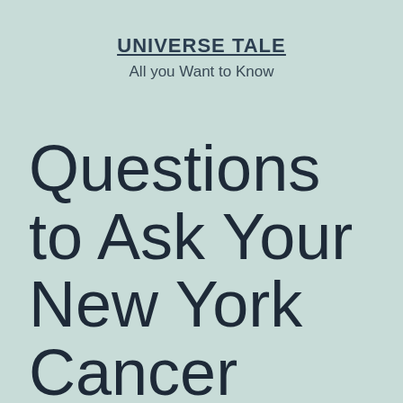UNIVERSE TALE
All you Want to Know
Questions to Ask Your New York Cancer Misdiagnosis